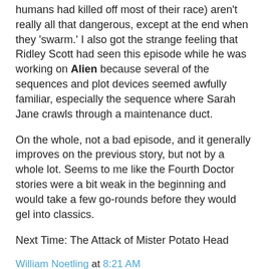(... humans had killed off most of their race) aren't really all that dangerous, except at the end when they 'swarm.' I also got the strange feeling that Ridley Scott had seen this episode while he was working on Alien because several of the sequences and plot devices seemed awfully familiar, especially the sequence where Sarah Jane crawls through a maintenance duct.
On the whole, not a bad episode, and it generally improves on the previous story, but not by a whole lot. Seems to me like the Fourth Doctor stories were a bit weak in the beginning and would take a few go-rounds before they would gel into classics.
Next Time: The Attack of Mister Potato Head
William Noetling at 8:21 AM
No comments:
Post a Comment